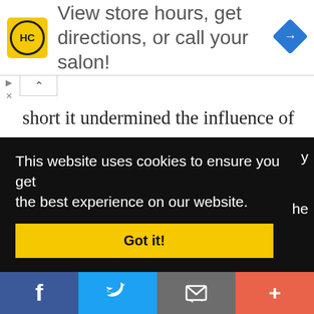[Figure (infographic): Advertisement banner: HC logo (yellow circle with HC letters), text 'View store hours, get directions, or call your salon!', blue diamond navigation icon on the right.]
short it undermined the influence of the priests in the religious life of the Hindus and helped the religion survive the growing influence of Buddhism and Jainism!
This website uses cookies to ensure you get the best experience on our website.
[Figure (screenshot): Cookie consent banner with 'Got it!' button in yellow, and social share bar with Facebook, Twitter, email, and plus buttons at the bottom.]